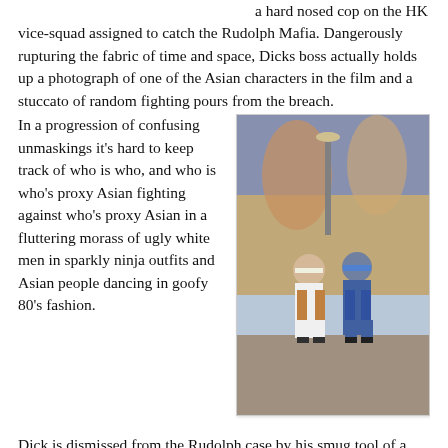a hard nosed cop on the HK vice-squad assigned to catch the Rudolph Mafia. Dangerously rupturing the fabric of time and space, Dicks boss actually holds up a photograph of one of the Asian characters in the film and a stuccato of random fighting pours from the breach.
In a progression of confusing unmaskings it's hard to keep track of who is who, and who is who's proxy Asian fighting against who's proxy Asian in a fluttering morass of ugly white men in sparkly ninja outfits and Asian people dancing in goofy 80's fashion.
[Figure (photo): A photograph showing two people standing together outdoors, appearing to be in costume or casual wear, with colorful murals or decorations visible in the background.]
Dick is dismissed from the Rudolph case by his smug tool of a boss, and he and Alvin; restless angry ninja with matching yellow outfits, finally team up to fight their way through Rudolphs henchmen. It takes the destruction of Rudolphs entire drug shipment, this time concealed in watermelons before he agrees over the phone to meet Dick and Alvin at the reservoir in full ninja regalia for